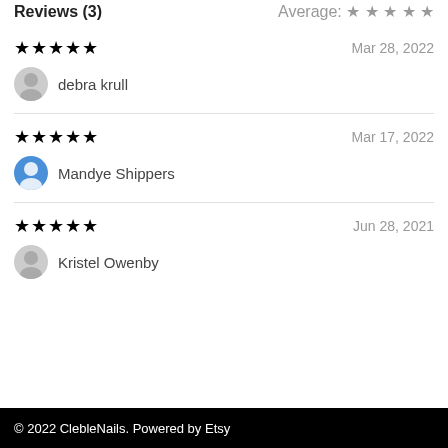Reviews (3)   Average: ★★★★★
★★★★★   Mar 28, 2022   debra krull
★★★★★   Mar 17, 2022   Mandye Shippers
★★★★★   Jun 28, 2021   Kristel Owenby
© 2022 ClebleNails. Powered by Etsy